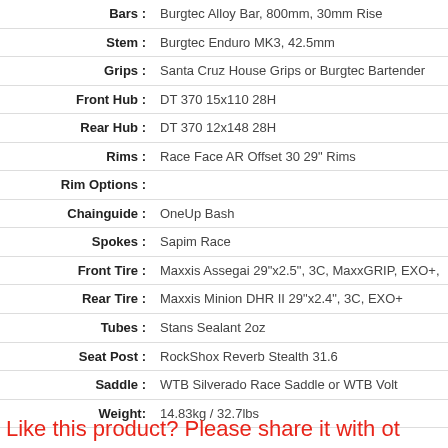| Attribute | Value |
| --- | --- |
| Bars : | Burgtec Alloy Bar, 800mm, 30mm Rise |
| Stem : | Burgtec Enduro MK3, 42.5mm |
| Grips : | Santa Cruz House Grips or Burgtec Bartender |
| Front Hub : | DT 370 15x110 28H |
| Rear Hub : | DT 370 12x148 28H |
| Rims : | Race Face AR Offset 30 29" Rims |
| Rim Options : |  |
| Chainguide : | OneUp Bash |
| Spokes : | Sapim Race |
| Front Tire : | Maxxis Assegai 29"x2.5", 3C, MaxxGRIP, EXO+, |
| Rear Tire : | Maxxis Minion DHR II 29"x2.4", 3C, EXO+ |
| Tubes : | Stans Sealant 2oz |
| Seat Post : | RockShox Reverb Stealth 31.6 |
| Saddle : | WTB Silverado Race Saddle or WTB Volt |
| Weight: | 14.83kg / 32.7lbs |
Like this product? Please share it with ot